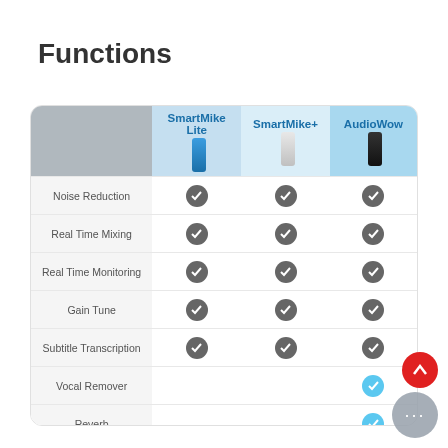Functions
|  | SmartMike Lite | SmartMike+ | AudioWow |
| --- | --- | --- | --- |
| Noise Reduction | ✓ | ✓ | ✓ |
| Real Time Mixing | ✓ | ✓ | ✓ |
| Real Time Monitoring | ✓ | ✓ | ✓ |
| Gain Tune | ✓ | ✓ | ✓ |
| Subtitle Transcription | ✓ | ✓ | ✓ |
| Vocal Remover |  |  | ✓ |
| Reverb |  |  | ✓ |
| Voice Changer |  |  |  |
| Five Band Equalizer |  |  |  |